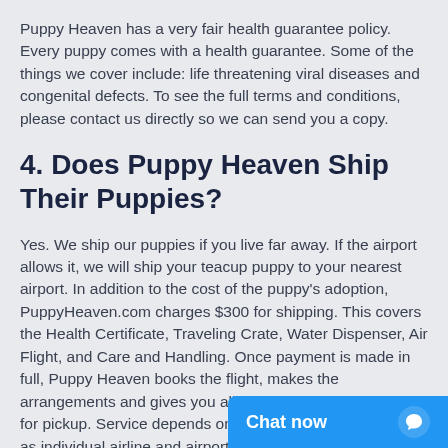Puppy Heaven has a very fair health guarantee policy. Every puppy comes with a health guarantee. Some of the things we cover include: life threatening viral diseases and congenital defects. To see the full terms and conditions, please contact us directly so we can send you a copy.
4. Does Puppy Heaven Ship Their Puppies?
Yes. We ship our puppies if you live far away. If the airport allows it, we will ship your teacup puppy to your nearest airport. In addition to the cost of the puppy's adoption, PuppyHeaven.com charges $300 for shipping. This covers the Health Certificate, Traveling Crate, Water Dispenser, Air Flight, and Care and Handling. Once payment is made in full, Puppy Heaven books the flight, makes the arrangements and gives you all the information and details for pickup. Service depends on weather conditions as well as individual airline and airport policies. Ask about our special hand delivery se... Puppy Heaven's Shippin...